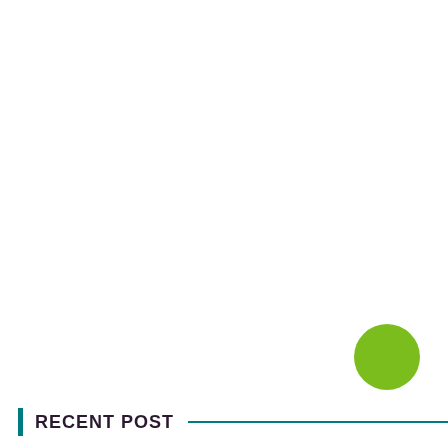[Figure (illustration): Green filled circle positioned in the lower-right area of the page]
RECENT POST